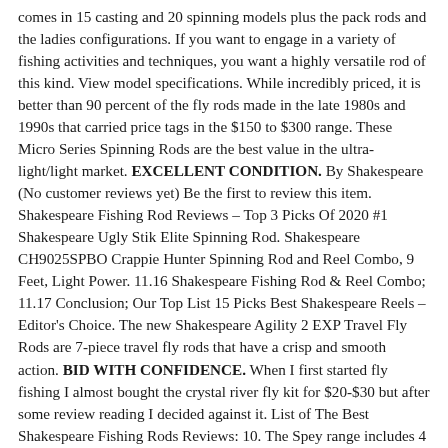comes in 15 casting and 20 spinning models plus the pack rods and the ladies configurations. If you want to engage in a variety of fishing activities and techniques, you want a highly versatile rod of this kind. View model specifications. While incredibly priced, it is better than 90 percent of the fly rods made in the late 1980s and 1990s that carried price tags in the $150 to $300 range. These Micro Series Spinning Rods are the best value in the ultra-light/light market. EXCELLENT CONDITION. By Shakespeare (No customer reviews yet) Be the first to review this item. Shakespeare Fishing Rod Reviews – Top 3 Picks Of 2020 #1 Shakespeare Ugly Stik Elite Spinning Rod. Shakespeare CH9025SPBO Crappie Hunter Spinning Rod and Reel Combo, 9 Feet, Light Power. 11.16 Shakespeare Fishing Rod & Reel Combo; 11.17 Conclusion; Our Top List 15 Picks Best Shakespeare Reels – Editor's Choice. The new Shakespeare Agility 2 EXP Travel Fly Rods are 7-piece travel fly rods that have a crisp and smooth action. BID WITH CONFIDENCE. When I first started fly fishing I almost bought the crystal river fly kit for $20-$30 but after some review reading I decided against it. List of The Best Shakespeare Fishing Rods Reviews: 10. The Spey range includes 4 lengths and respective weights. … 8 feet or less: Best for short and precise casts – if you want to chase pan-fish, streamers, or use a light fly line, then get 8 feet. View Larger. Great 9' Shakespeare Wonderod Fly Fishing Rod Spiral Markings Howald Process USA Up for auction is a very nice Shakespeare Wonderod 9' fly fishing rod